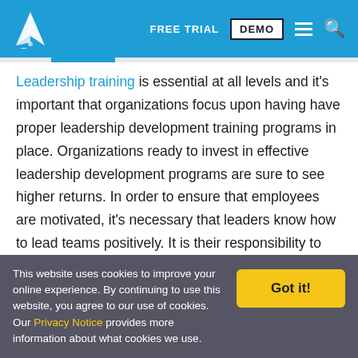FREE TRIAL | DEMO | [menu] [search]
Leadership training is essential at all levels and it's important that organizations focus upon having have proper leadership development training programs in place. Organizations ready to invest in effective leadership development programs are sure to see higher returns. In order to ensure that employees are motivated, it's necessary that leaders know how to lead teams positively. It is their responsibility to encourage a culture that will
This website uses cookies to improve your online experience. By continuing to use this website, you agree to our use of cookies. Our Privacy Notice provides more information about what cookies we use. Got it!